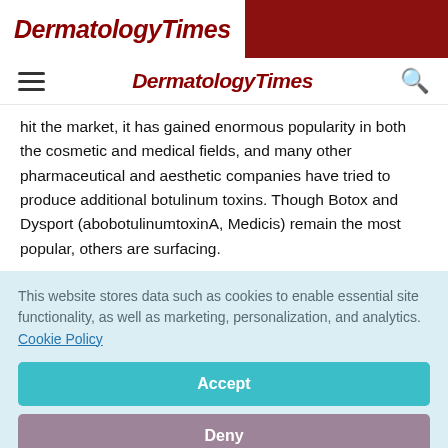DermatologyTimes
DermatologyTimes
hit the market, it has gained enormous popularity in both the cosmetic and medical fields, and many other pharmaceutical and aesthetic companies have tried to produce additional botulinum toxins. Though Botox and Dysport (abobotulinumtoxinA, Medicis) remain the most popular, others are surfacing.
This website stores data such as cookies to enable essential site functionality, as well as marketing, personalization, and analytics. Cookie Policy
Accept
Deny